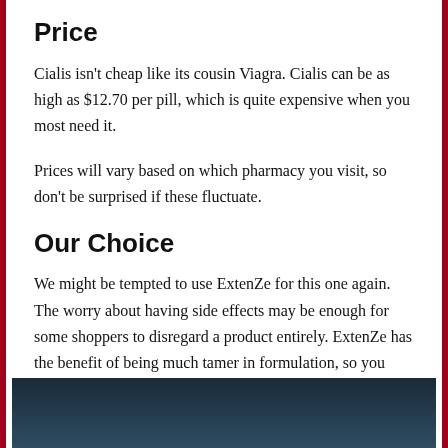Price
Cialis isn't cheap like its cousin Viagra. Cialis can be as high as $12.70 per pill, which is quite expensive when you most need it.
Prices will vary based on which pharmacy you visit, so don't be surprised if these fluctuate.
Our Choice
We might be tempted to use ExtenZe for this one again. The worry about having side effects may be enough for some shoppers to disregard a product entirely. ExtenZe has the benefit of being much tamer in formulation, so you won't need to worry about any undue side effects.
[Figure (photo): Dark blue/teal background image, partially visible at bottom of page]